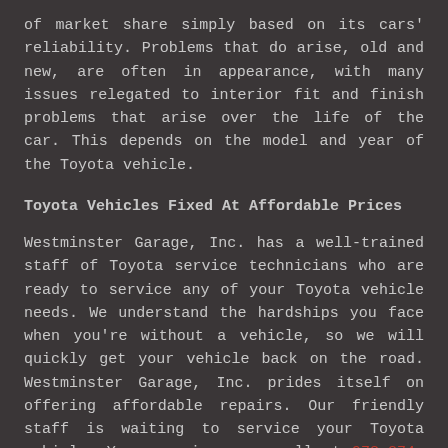of market share simply based on its cars' reliability. Problems that do arise, old and new, are often in appearance, with many issues relegated to interior fit and finish problems that arise over the life of the car. This depends on the model and year of the Toyota vehicle.
Toyota Vehicles Fixed At Affordable Prices
Westminster Garage, Inc. has a well-trained staff of Toyota service technicians who are ready to service any of your Toyota vehicle needs. We understand the hardships you face when you're without a vehicle, so we will quickly get your vehicle back on the road. Westminster Garage, Inc. prides itself on offering affordable repairs. Our friendly staff is waiting to service your Toyota vehicle. You can give us a call at 978-874-5712 or visit our service center.
Discover More About Toyota Repair Services At Westminster Garage, Inc. in Westminster
Saturn Repairs